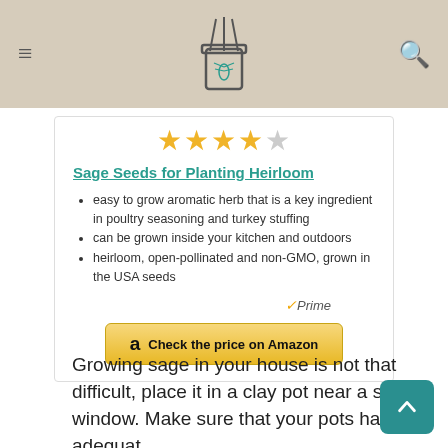Website header with logo, hamburger menu, and search icon
[Figure (other): Star rating showing 4 out of 5 stars in gold/yellow]
Sage Seeds for Planting Heirloom
easy to grow aromatic herb that is a key ingredient in poultry seasoning and turkey stuffing
can be grown inside your kitchen and outdoors
heirloom, open-pollinated and non-GMO, grown in the USA seeds
[Figure (logo): Amazon Prime logo with checkmark]
[Figure (other): Check the price on Amazon button]
Growing sage in your house is not that difficult, place it in a clay pot near a sunny window. Make sure that your pots have adequate
[Figure (other): Scroll to top button with upward arrow]